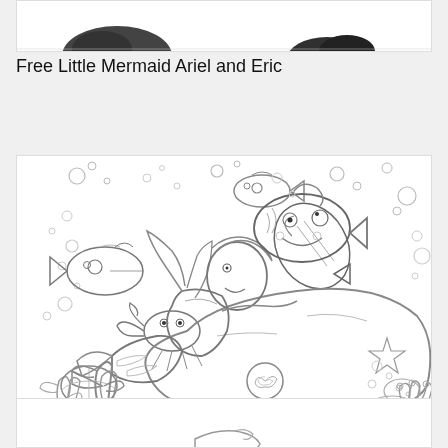[Figure (illustration): Partial coloring page illustration showing tops of Little Mermaid Ariel and Eric characters (cropped at top)]
Free Little Mermaid Ariel and Eric
[Figure (illustration): Full coloring page of Little Mermaid Ariel reclining on a rock with Flounder the fish above her, Sebastian the crab nearby, fish swimming, bubbles, and underwater plants surrounding them. Black and white line art.]
Free Little Mermaid Coloring Page
[Figure (illustration): Partial coloring page illustration cropped at bottom of page, showing the top portion of another Little Mermaid coloring page]